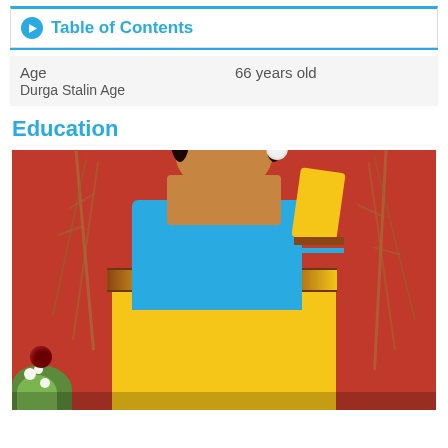Table of Contents
Age	66 years old
Durga Stalin Age
Education
[Figure (photo): Woman wearing a yellow and blue saree with traditional jewelry, standing in front of a red wall with bamboo decorations. She has a red bindi on her forehead and flower earrings.]